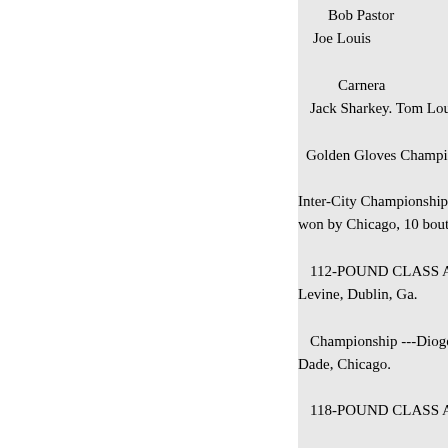Bob Pastor
Joe Louis

Carnera
Jack Sharkey. Tom Loughra

Golden Gloves Championship

Inter-City Championships, Chica won by Chicago, 10 bouts to 6, i

112-POUND CLASS Alternat Levine, Dublin, Ga.

Championship ---Diogenes Le Dade, Chicago.

118-POUND CLASS Alternat

Championship--Richard Mencha

126-POUND CLASS Alternat

Championship-Jack Haley. Ka

135- POUND CLASS Alterna

Championship-Johnny Green, Bu

147 POUND CLASS Al